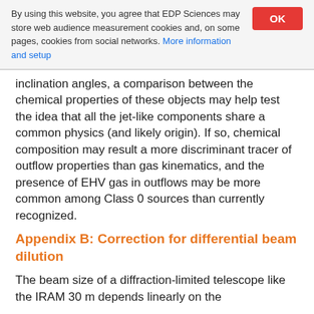By using this website, you agree that EDP Sciences may store web audience measurement cookies and, on some pages, cookies from social networks. More information and setup
inclination angles, a comparison between the chemical properties of these objects may help test the idea that all the jet-like components share a common physics (and likely origin). If so, chemical composition may result a more discriminant tracer of outflow properties than gas kinematics, and the presence of EHV gas in outflows may be more common among Class 0 sources than currently recognized.
Appendix B: Correction for differential beam dilution
The beam size of a diffraction-limited telescope like the IRAM 30 m depends linearly on the